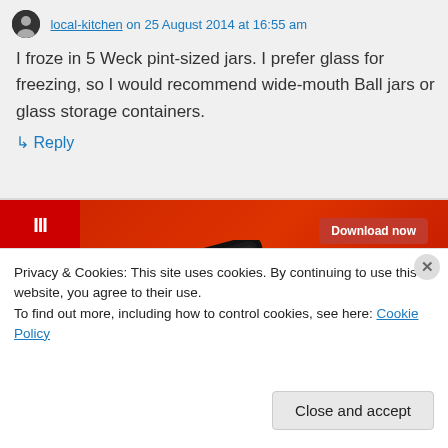local-kitchen on 25 August 2014 at 16:55 am
I froze in 5 Weck pint-sized jars. I prefer glass for freezing, so I would recommend wide-mouth Ball jars or glass storage containers.
↳ Reply
[Figure (photo): Advertisement showing a smartphone on a red background with a 'Download now' button]
Privacy & Cookies: This site uses cookies. By continuing to use this website, you agree to their use.
To find out more, including how to control cookies, see here: Cookie Policy
Close and accept